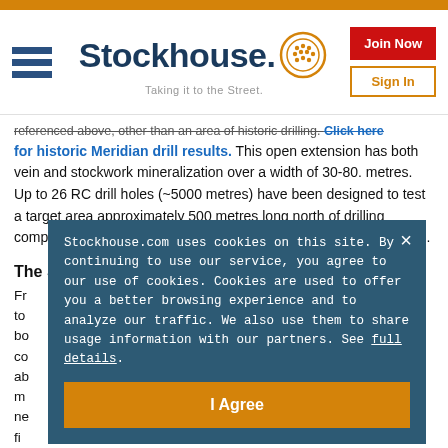[Figure (logo): Stockhouse logo with hamburger menu, logo text 'Stockhouse.' with circular icon, tagline 'Taking it to the Street.', Join Now and Sign In buttons]
referenced above, other than an area of historic drilling. Click here for historic Meridian drill results. This open extension has both vein and stockwork mineralization over a width of 30-80. metres. Up to 26 RC drill holes (~5000 metres) have been designed to test a target area approximately 500 metres long north of drilling completed recently to a vertical depth of approximately 100 metres.
The Southern Gap
Fr... to... bo... co... ab... m... ne... fi...
Stockhouse.com uses cookies on this site. By continuing to use our service, you agree to our use of cookies. Cookies are used to offer you a better browsing experience and to analyze our traffic. We also use them to share usage information with our partners. See full details.
I Agree